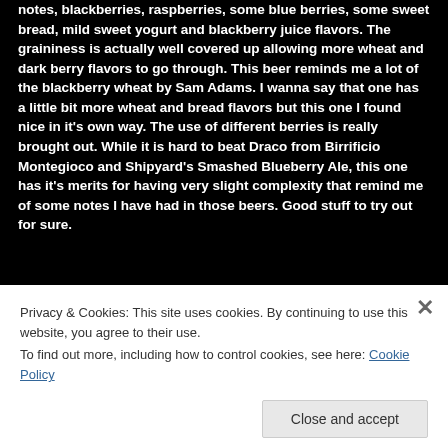notes, blackberries, raspberries, some blue berries, some sweet bread, mild sweet yogurt and blackberry juice flavors. The graininess is actually well covered up allowing more wheat and dark berry flavors to go through. This beer reminds me a lot of the blackberry wheat by Sam Adams. I wanna say that one has a little bit more wheat and bread flavors but this one I found nice in it's own way. The use of different berries is really brought out. While it is hard to beat Draco from Birrificio Montegioco and Shipyard's Smashed Blueberry Ale, this one has it's merits for having very slight complexity that remind me of some notes I have had in those beers. Good stuff to try out for sure.
Search
Privacy & Cookies: This site uses cookies. By continuing to use this website, you agree to their use.
To find out more, including how to control cookies, see here: Cookie Policy